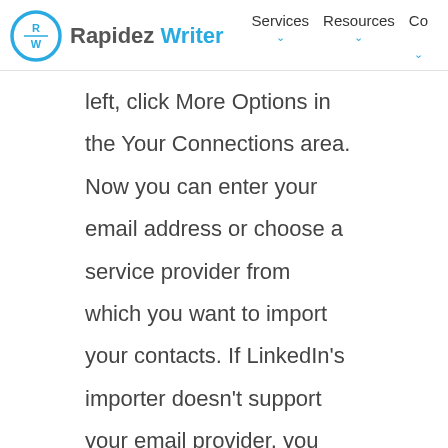Rapidez Writer | Services | Resources | Con
left, click More Options in the Your Connections area. Now you can enter your email address or choose a service provider from which you want to import your contacts. If LinkedIn's importer doesn't support your email provider, you